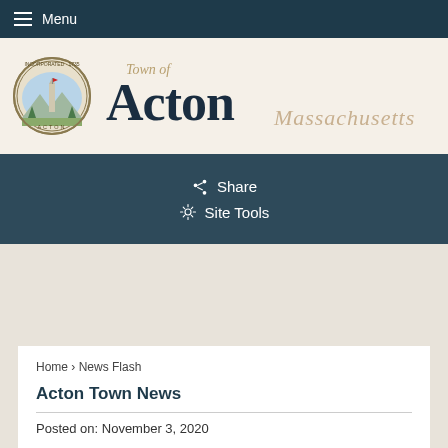Menu
[Figure (logo): Town of Acton Massachusetts official seal and logo with circular emblem showing monument and mountains]
Share
Site Tools
Home › News Flash
Acton Town News
Posted on: November 3, 2020